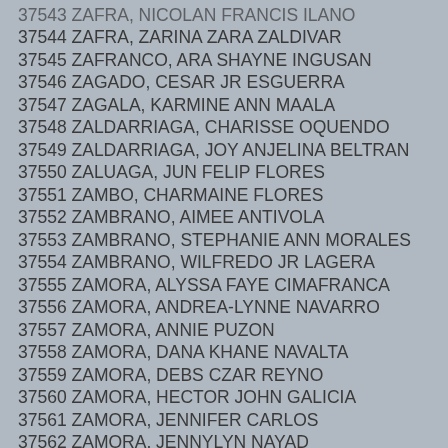37543 ZAFRA, NICOLAN FRANCIS ILANO
37544 ZAFRA, ZARINA ZARA ZALDIVAR
37545 ZAFRANCO, ARA SHAYNE INGUSAN
37546 ZAGADO, CESAR JR ESGUERRA
37547 ZAGALA, KARMINE ANN MAALA
37548 ZALDARRIAGA, CHARISSE OQUENDO
37549 ZALDARRIAGA, JOY ANJELINA BELTRAN
37550 ZALUAGA, JUN FELIP FLORES
37551 ZAMBO, CHARMAINE FLORES
37552 ZAMBRANO, AIMEE ANTIVOLA
37553 ZAMBRANO, STEPHANIE ANN MORALES
37554 ZAMBRANO, WILFREDO JR LAGERA
37555 ZAMORA, ALYSSA FAYE CIMAFRANCA
37556 ZAMORA, ANDREA-LYNNE NAVARRO
37557 ZAMORA, ANNIE PUZON
37558 ZAMORA, DANA KHANE NAVALTA
37559 ZAMORA, DEBS CZAR REYNO
37560 ZAMORA, HECTOR JOHN GALICIA
37561 ZAMORA, JENNIFER CARLOS
37562 ZAMORA, JENNYLYN NAYAD
37563 ZAMORA, JERMIE JOY ECHAVEZ
37564 ZAMORA, JESSAMYN TOLEDO
37565 ZAMORA, JOCELYN TONILON